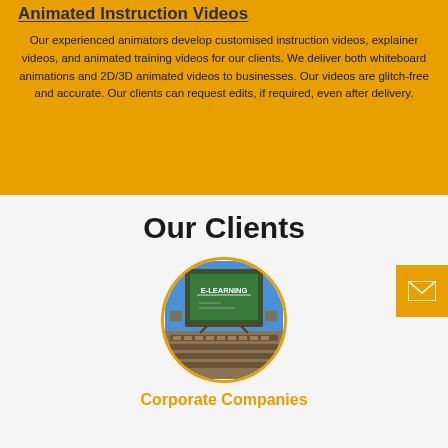Animated Instruction Videos
Our experienced animators develop customised instruction videos, explainer videos, and animated training videos for our clients. We deliver both whiteboard animations and 2D/3D animated videos to businesses. Our videos are glitch-free and accurate. Our clients can request edits, if required, even after delivery.
Our Clients
[Figure (illustration): Circular image with gold border showing an E-Learning chalkboard sign on a desk with a keyboard, representing corporate e-learning clients]
Corporate Companies